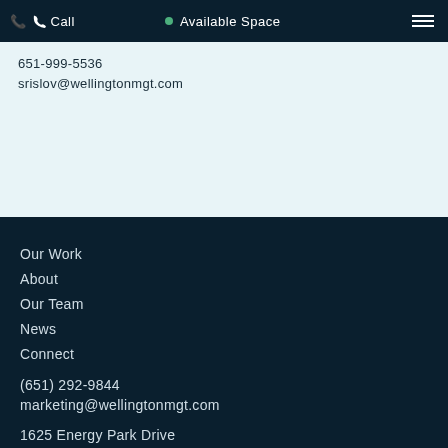Call | Available Space
651-999-5536
srislov@wellingtonmgt.com
Our Work
About
Our Team
News
Connect
(651) 292-9844
marketing@wellingtonmgt.com
1625 Energy Park Drive
Suite 100
St. Paul, MN 55108